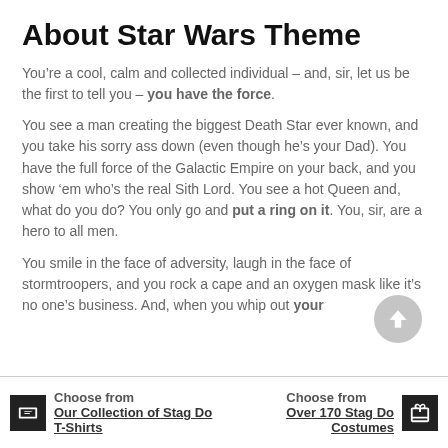About Star Wars Theme
You’re a cool, calm and collected individual – and, sir, let us be the first to tell you – you have the force.
You see a man creating the biggest Death Star ever known, and you take his sorry ass down (even though he’s your Dad). You have the full force of the Galactic Empire on your back, and you show ‘em who’s the real Sith Lord. You see a hot Queen and, what do you do? You only go and put a ring on it. You, sir, are a hero to all men.
You smile in the face of adversity, laugh in the face of stormtroopers, and you rock a cape and an oxygen mask like it’s no one’s business. And, when you whip out your
Choose from Our Collection of Stag Do T-Shirts | Choose from Over 170 Stag Do Costumes